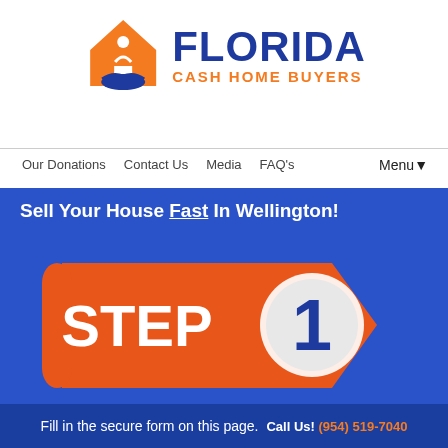[Figure (logo): Florida Cash Home Buyers logo with orange house icon and blue text]
Our Donations   Contact Us   Media   FAQ's   Menu▼
Sell Your House Fast In Wellington!
[Figure (infographic): Orange arrow/chevron badge with STEP 1 text and a circular number 1 badge on blue background]
Fill in the secure form on this page.
Call Us! (954) 519-7040